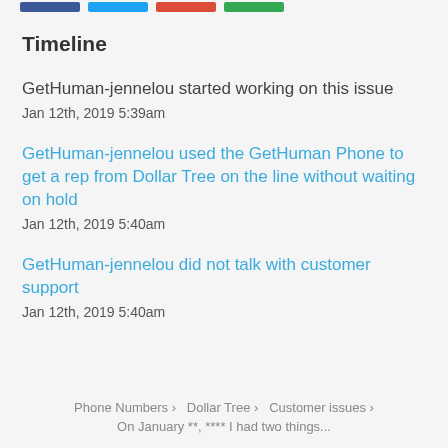[Figure (other): Row of four colored social sharing buttons (blue, cyan, red, green) at the top of the page]
Timeline
GetHuman-jennelou started working on this issue
Jan 12th, 2019 5:39am
GetHuman-jennelou used the GetHuman Phone to get a rep from Dollar Tree on the line without waiting on hold
Jan 12th, 2019 5:40am
GetHuman-jennelou did not talk with customer support
Jan 12th, 2019 5:40am
Phone Numbers › Dollar Tree › Customer issues ›
On January **, **** I had two things...